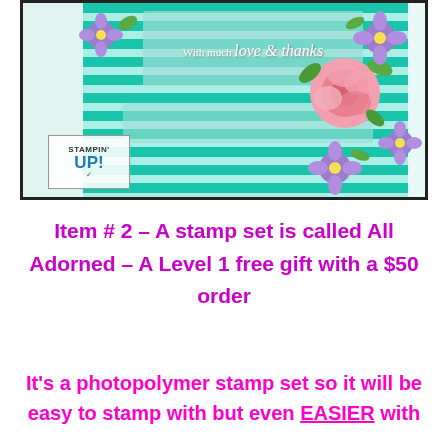[Figure (photo): A handmade greeting card featuring teal horizontal stripes, an embossed panel with the text 'With much love & thanks' in white script, pink roses and purple flowers arranged around the card, and a Stampin' Up! logo in the lower left corner.]
Item # 2 – A stamp set is called All Adorned – A Level 1 free gift with a $50 order
It's a photopolymer stamp set so it will be easy to stamp with but even EASIER with